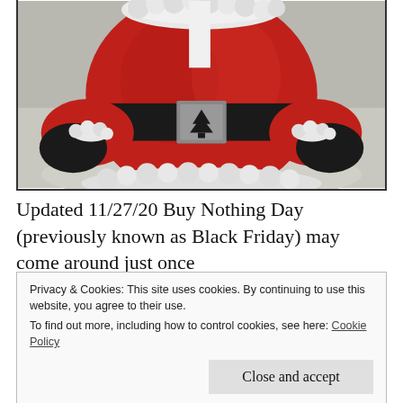[Figure (photo): A Santa Claus figurine/statue showing the torso area with red suit, black belt with silver buckle featuring a Christmas tree design, white fur trim, and black gloved hands. Background is snowy/gray.]
Updated 11/27/20 Buy Nothing Day (previously known as Black Friday) may come around just once
Privacy & Cookies: This site uses cookies. By continuing to use this website, you agree to their use.
To find out more, including how to control cookies, see here: Cookie Policy

Close and accept